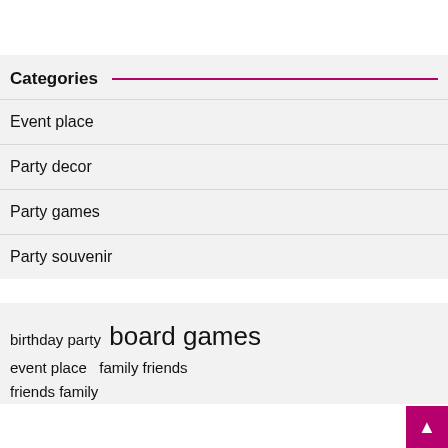Categories
Event place
Party decor
Party games
Party souvenir
birthday party  board games  event place  family friends  friends family
[Figure (other): Magenta scroll-to-top button with arrow icon, bottom-right corner]